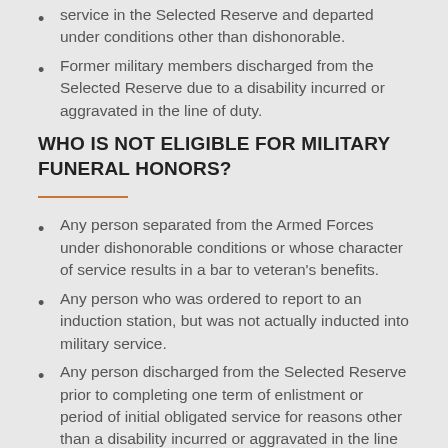service in the Selected Reserve and departed under conditions other than dishonorable.
Former military members discharged from the Selected Reserve due to a disability incurred or aggravated in the line of duty.
WHO IS NOT ELIGIBLE FOR MILITARY FUNERAL HONORS?
Any person separated from the Armed Forces under dishonorable conditions or whose character of service results in a bar to veteran's benefits.
Any person who was ordered to report to an induction station, but was not actually inducted into military service.
Any person discharged from the Selected Reserve prior to completing one term of enlistment or period of initial obligated service for reasons other than a disability incurred or aggravated in the line of duty.